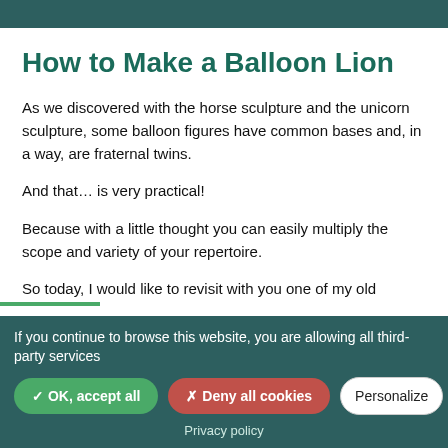How to Make a Balloon Lion
As we discovered with the horse sculpture and the unicorn sculpture, some balloon figures have common bases and, in a way, are fraternal twins.
And that… is very practical!
Because with a little thought you can easily multiply the scope and variety of your repertoire.
So today, I would like to revisit with you one of my old
If you continue to browse this website, you are allowing all third-party services
✓ OK, accept all   ✗ Deny all cookies   Personalize
Privacy policy